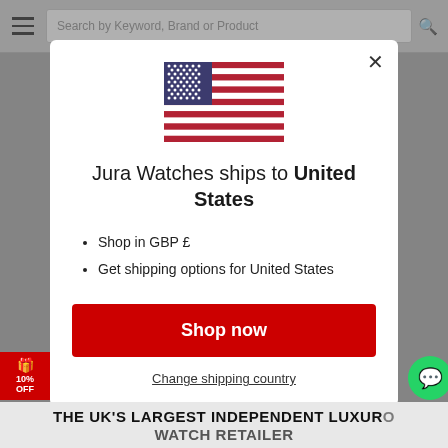[Figure (screenshot): Website navigation bar with hamburger menu icon on the left and a search box reading 'Search by Keyword, Brand or Product' with a magnifying glass icon on the right]
[Figure (illustration): US flag SVG illustration centered in the modal popup]
Jura Watches ships to United States
Shop in GBP £
Get shipping options for United States
Shop now
Change shipping country
THE UK'S LARGEST INDEPENDENT LUXURY WATCH RETAILER